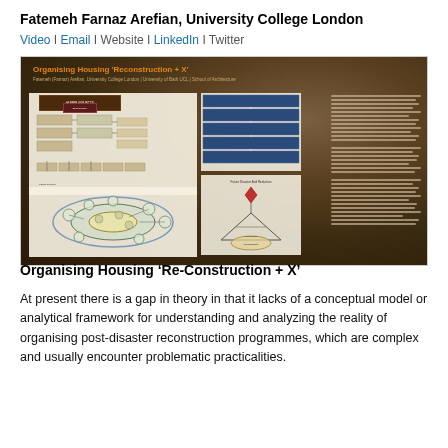Fatemeh Farnaz Arefian, University College London
Video | Email | Website | LinkedIn | Twitter
[Figure (photo): A conference poster titled 'Organising Housing Reconstruction + X' by Fatemeh (Farnaz) Arefian, displayed against an aerial photograph background. The poster contains flowcharts, diagrams, and dense academic text.]
Organising Housing ‘Re-Construction + X’
At present there is a gap in theory in that it lacks of a conceptual model or analytical framework for understanding and analyzing the reality of organising post-disaster reconstruction programmes, which are complex and usually encounter problematic practicalities.